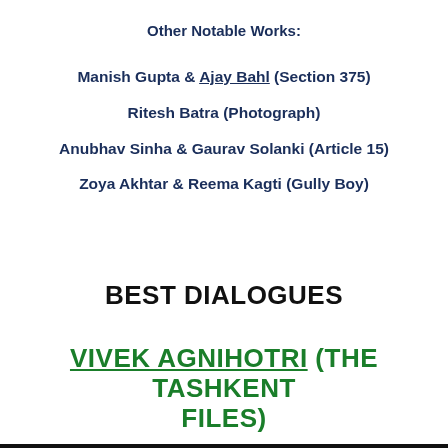Other Notable Works:
Manish Gupta & Ajay Bahl (Section 375)
Ritesh Batra (Photograph)
Anubhav Sinha & Gaurav Solanki (Article 15)
Zoya Akhtar & Reema Kagti (Gully Boy)
BEST DIALOGUES
VIVEK AGNIHOTRI (THE TASHKENT FILES)